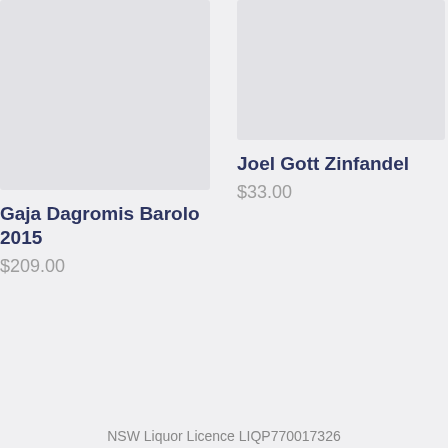[Figure (photo): Product image placeholder for Gaja Dagromis Barolo 2015 - light grey rectangle]
[Figure (photo): Product image placeholder for Joel Gott Zinfandel - light grey rectangle]
Joel Gott Zinfandel
$33.00
Gaja Dagromis Barolo 2015
$209.00
NSW Liquor Licence LIQP770017326